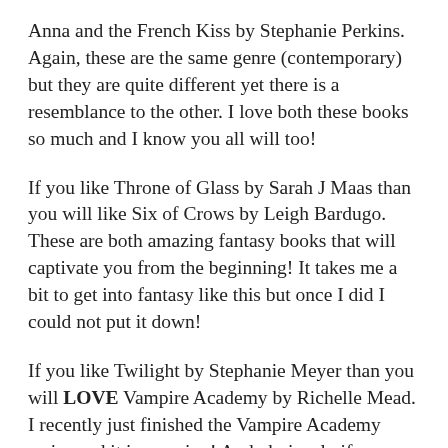Anna and the French Kiss by Stephanie Perkins. Again, these are the same genre (contemporary) but they are quite different yet there is a resemblance to the other. I love both these books so much and I know you all will too!
If you like Throne of Glass by Sarah J Maas than you will like Six of Crows by Leigh Bardugo. These are both amazing fantasy books that will captivate you from the beginning! It takes me a bit to get into fantasy like this but once I did I could not put it down!
If you like Twilight by Stephanie Meyer than you will LOVE Vampire Academy by Richelle Mead. I recently just finished the Vampire Academy series and it is amazing! And obviously if you like Twilight you will like Vampire Academy because they both have the